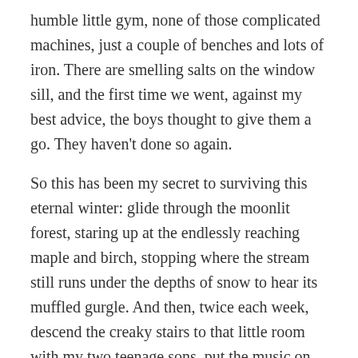humble little gym, none of those complicated machines, just a couple of benches and lots of iron. There are smelling salts on the window sill, and the first time we went, against my best advice, the boys thought to give them a go. They haven't done so again.
So this has been my secret to surviving this eternal winter: glide through the moonlit forest, staring up at the endlessly reaching maple and birch, stopping where the stream still runs under the depths of snow to hear its muffled gurgle. And then, twice each week, descend the creaky stairs to that little room with my two teenage sons, put the music on loud, and lift some heavy shit.
Share this: